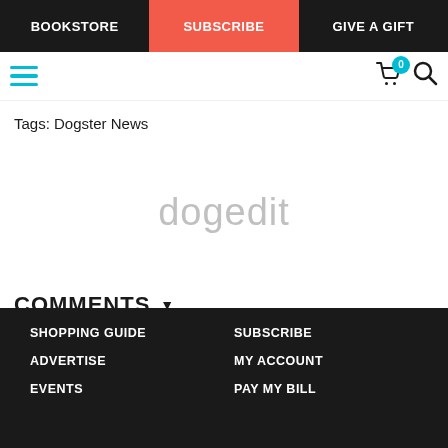BOOKSTORE | SUBSCRIBE | GIVE A GIFT
Tags: Dogster News
[Figure (other): dogedit watermark text in light gray]
COMMENTS
SHOPPING GUIDE | SUBSCRIBE | ADVERTISE | MY ACCOUNT | EVENTS | PAY MY BILL